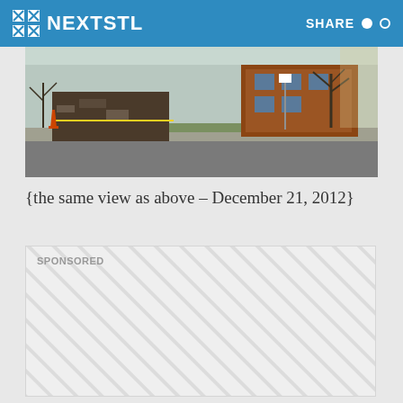NEXTSTL | SHARE
[Figure (photo): Street view showing fire damage and debris from a burned building next to a brick house, with yellow caution tape, a traffic cone, and bare trees visible. Taken December 21, 2012.]
{the same view as above – December 21, 2012}
SPONSORED